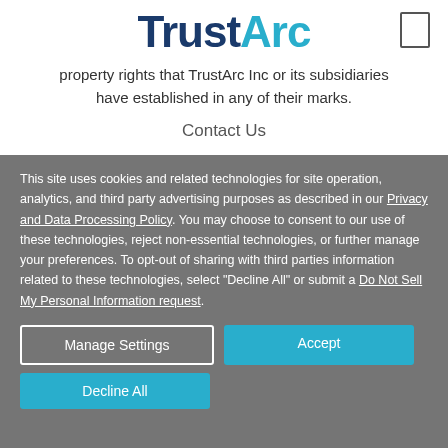[Figure (logo): TrustArc logo with 'Trust' in dark navy blue and 'Arc' in teal/cyan color]
property rights that TrustArc Inc or its subsidiaries have established in any of their marks.
Contact Us
This site uses cookies and related technologies for site operation, analytics, and third party advertising purposes as described in our Privacy and Data Processing Policy. You may choose to consent to our use of these technologies, reject non-essential technologies, or further manage your preferences. To opt-out of sharing with third parties information related to these technologies, select "Decline All" or submit a Do Not Sell My Personal Information request.